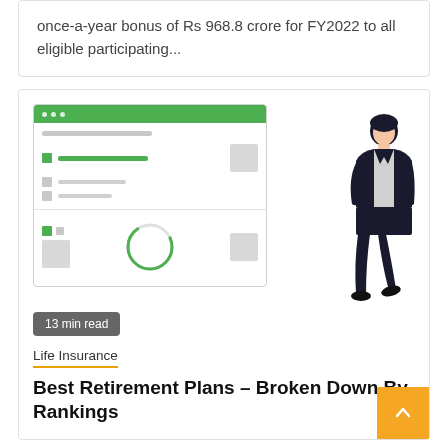once-a-year bonus of Rs 968.8 crore for FY2022 to all eligible participating...
[Figure (illustration): Website/dashboard UI mockup illustration with a green browser bar and list/chart panels, alongside a standing person in a suit illustration]
13 min read
Life Insurance
Best Retirement Plans – Broken Down By Rankings